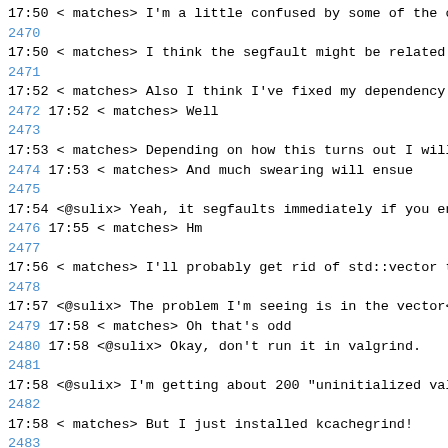17:50 < matches> I'm a little confused by some of the ou
2470
17:50 < matches> I think the segfault might be related t
2471
17:52 < matches> Also I think I've fixed my dependency h
2472 17:52 < matches> Well
2473
17:53 < matches> Depending on how this turns out I will
2474 17:53 < matches> And much swearing will ensue
2475
17:54 <@sulix> Yeah, it segfaults immediately if you ena
2476 17:55 < matches> Hm
2477
17:56 < matches> I'll probably get rid of std::vector th
2478
17:57 <@sulix> The problem I'm seeing is in the vector<B
2479 17:58 < matches> Oh that's odd
2480 17:58 <@sulix> Okay, don't run it in valgrind.
2481
17:58 <@sulix> I'm getting about 200 "uninitialized valu
2482
17:58 < matches> But I just installed kcachegrind!
2483
17:59 <@sulix> (Oh wait, that was with REAL=double)
2484 17:59 < matches> Haha